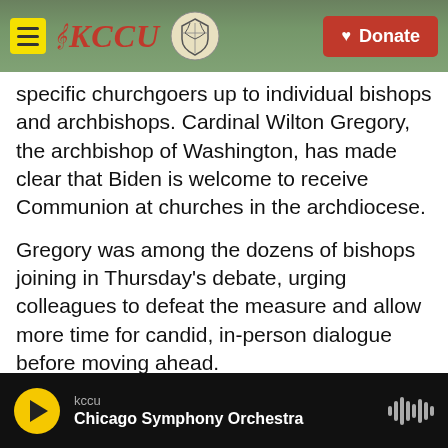KCCU — Donate
specific churchgoers up to individual bishops and archbishops. Cardinal Wilton Gregory, the archbishop of Washington, has made clear that Biden is welcome to receive Communion at churches in the archdiocese.
Gregory was among the dozens of bishops joining in Thursday's debate, urging colleagues to defeat the measure and allow more time for candid, in-person dialogue before moving ahead.
"The choice before us at this moment is either we pursue a path of strengthening unity among ourselves or settle for creating a document that will
kccu — Chicago Symphony Orchestra